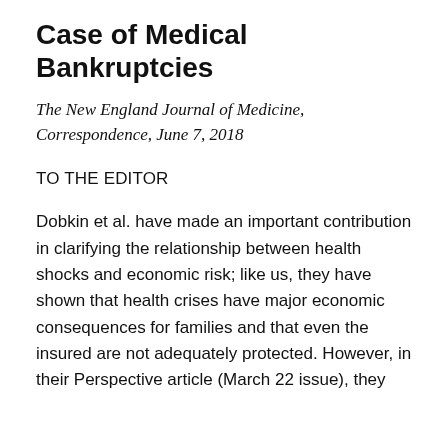Case of Medical Bankruptcies
The New England Journal of Medicine, Correspondence, June 7, 2018
TO THE EDITOR
Dobkin et al. have made an important contribution in clarifying the relationship between health shocks and economic risk; like us, they have shown that health crises have major economic consequences for families and that even the insured are not adequately protected. However, in their Perspective article (March 22 issue), they